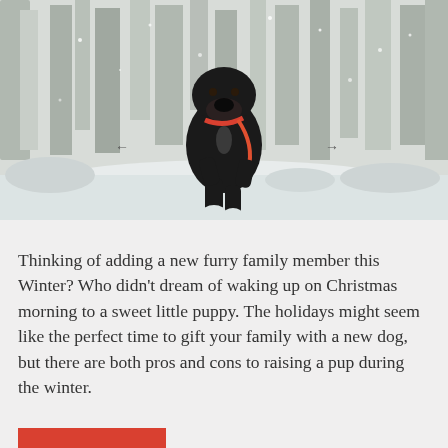[Figure (photo): A black Labrador dog running in snow toward the camera, wearing an orange collar/leash, with snow-covered trees in the background. Navigation arrows (← and →) visible on either side of the image.]
Thinking of adding a new furry family member this Winter? Who didn't dream of waking up on Christmas morning to a sweet little puppy. The holidays might seem like the perfect time to gift your family with a new dog, but there are both pros and cons to raising a pup during the winter.